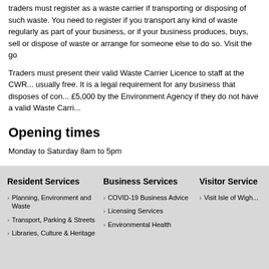traders must register as a waste carrier if transporting or disposing of such waste. You need to register if you transport any kind of waste regularly as part of your business, or if your business produces, buys, sell or dispose of waste or arrange for someone else to do so. Visit the go...
Traders must present their valid Waste Carrier Licence to staff at the CWRC. Registration is usually free. It is a legal requirement for any business that disposes of commercial waste and can be fined £5,000 by the Environment Agency if they do not have a valid Waste Carri...
Opening times
Monday to Saturday 8am to 5pm
Please Note: the CWRC site will not be open Christmas Day but will ope...
Resident Services | Business Services | Visitor Services | Planning, Environment and Waste | COVID-19 Business Advice | Visit Isle of Wigh... | Transport, Parking & Streets | Licensing Services | Libraries, Culture & Heritage | Environmental Health